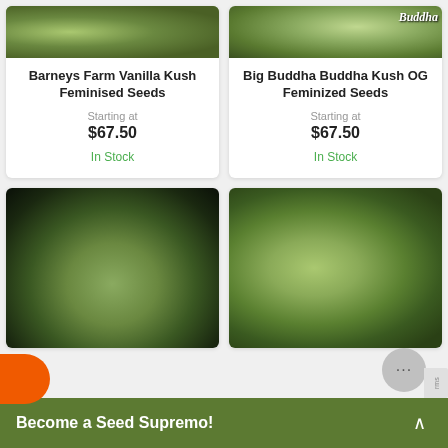[Figure (photo): Barneys Farm Vanilla Kush cannabis plant close-up, green and orange trichome-covered buds]
Barneys Farm Vanilla Kush Feminised Seeds
Starting at
$67.50
In Stock
[Figure (photo): Big Buddha Buddha Kush OG cannabis plant close-up with Buddha branding logo]
Big Buddha Buddha Kush OG Feminized Seeds
Starting at
$67.50
In Stock
[Figure (photo): Cannabis plant close-up with dense frosty green buds on black background]
[Figure (photo): Cannabis plant close-up with white trichome-covered green buds]
Become a Seed Supremo!